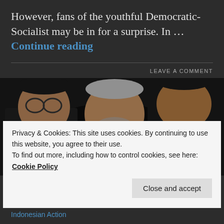However, fans of the youthful Democratic-Socialist may be in for a surprise. In … Continue reading
LEAVE A COMMENT
[Figure (photo): Three men in dark military uniforms with gold insignia, one in the center with grey hair and beard, two flanking him]
Privacy & Cookies: This site uses cookies. By continuing to use this website, you agree to their use.
To find out more, including how to control cookies, see here:
Cookie Policy
Close and accept
Indonesian Action